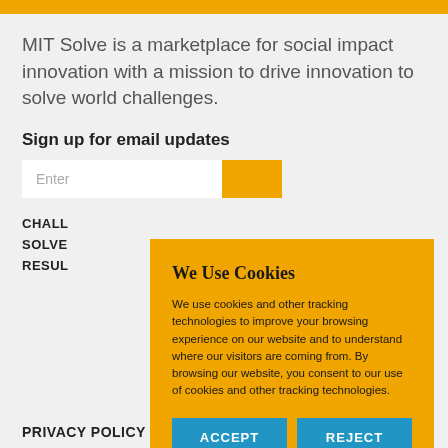MIT Solve is a marketplace for social impact innovation with a mission to drive innovation to solve world challenges.
Sign up for email updates
Enter [email input field]
CHALLENGES
SOLVERS
RESULTS
[Figure (screenshot): Cookie consent banner overlay with yellow background, title 'We Use Cookies', descriptive text about cookies, and two blue buttons labeled ACCEPT and REJECT]
PRIVACY POLICY